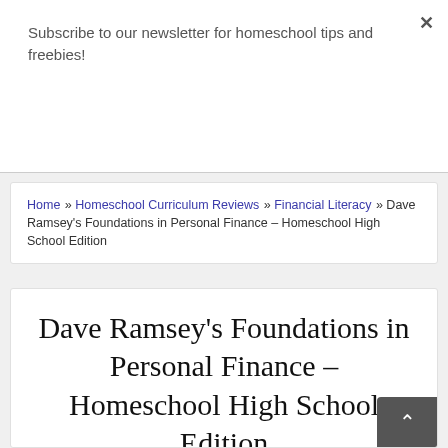Subscribe to our newsletter for homeschool tips and freebies!
Subscribe
Home » Homeschool Curriculum Reviews » Financial Literacy » Dave Ramsey's Foundations in Personal Finance – Homeschool High School Edition
Dave Ramsey's Foundations in Personal Finance – Homeschool High School Edition